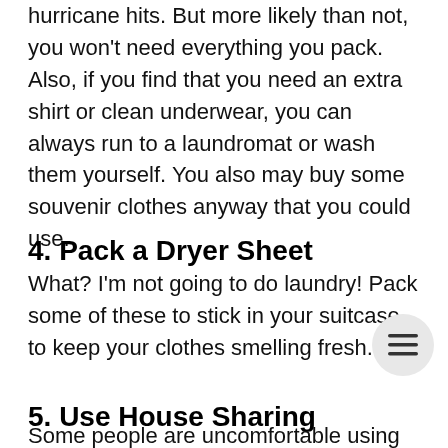could possibly need for your trip or in case a hurricane hits. But more likely than not, you won't need everything you pack. Also, if you find that you need an extra shirt or clean underwear, you can always run to a laundromat or wash them yourself. You also may buy some souvenir clothes anyway that you could use.
4. Pack a Dryer Sheet
What? I'm not going to do laundry! Pack some of these to stick in your suitcase to keep your clothes smelling fresh.
5. Use House Sharing
Some people are uncomfortable using apps